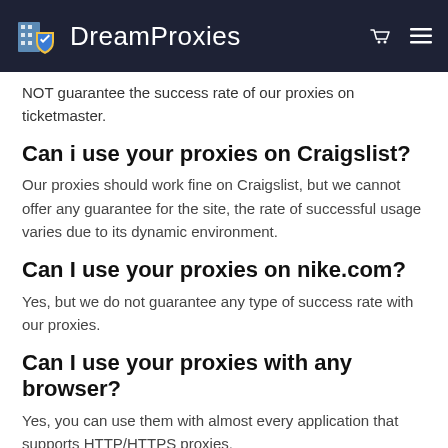DreamProxies
NOT guarantee the success rate of our proxies on ticketmaster.
Can i use your proxies on Craigslist?
Our proxies should work fine on Craigslist, but we cannot offer any guarantee for the site, the rate of successful usage varies due to its dynamic environment.
Can I use your proxies on nike.com?
Yes, but we do not guarantee any type of success rate with our proxies.
Can I use your proxies with any browser?
Yes, you can use them with almost every application that supports HTTP/HTTPS proxies.
Can I use your proxies with SEnuke, GSA SER,